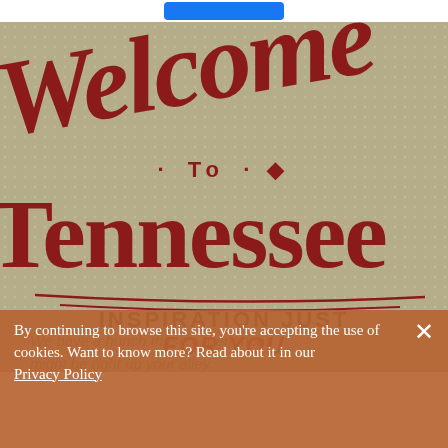[Figure (illustration): Welcome to Tennessee vintage-style poster illustration with large red hand-lettered text on a tan/khaki dotted background. The text reads 'Welcome to Tennessee' in a bold decorative style with curved underlines. Below the illustration, text reads 'INSPIRATION JUST' in bold black caps and 'FOR YOU' in red italic bold caps.]
INSPIRATION JUST
FOR YOU
By continuing to browse this site, you're accepting the use of cookies. Want to know more? Read about it in our Privacy Policy
We have a hunch these experiences might be right up your alley.